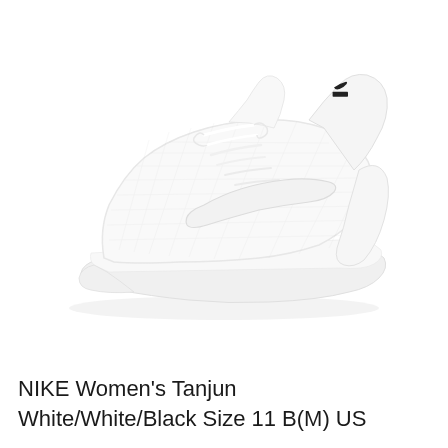[Figure (photo): A white Nike Women's Tanjun sneaker photographed on a white background, shown from a three-quarter side angle. The shoe features a white mesh upper, white swoosh logo, white laces, and a white sole. A small black Nike logo is visible on the tongue.]
NIKE Women's Tanjun White/White/Black Size 11 B(M) US